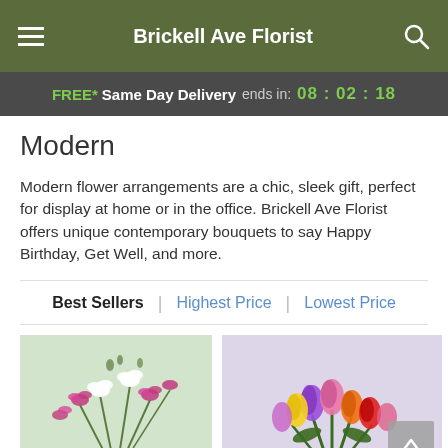Brickell Ave Florist
FREE* Same Day Delivery ends in: 08 : 02 : 18
Modern
Modern flower arrangements are a chic, sleek gift, perfect for display at home or in the office. Brickell Ave Florist offers unique contemporary bouquets to say Happy Birthday, Get Well, and more.
Best Sellers | Highest Price | Lowest Price
[Figure (photo): Pink and white orchid flower arrangement against a light green background]
[Figure (photo): Colorful tulip bouquet with purple, yellow, orange, red, and pink tulips in a glass vase]